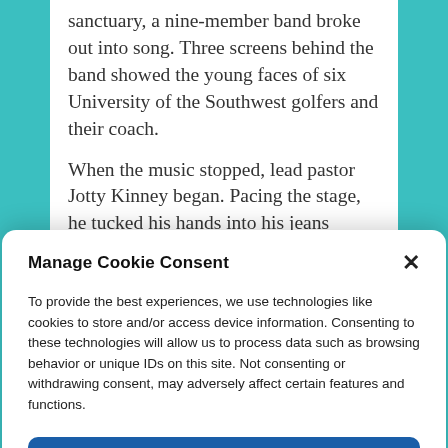sanctuary, a nine-member band broke out into song. Three screens behind the band showed the young faces of six University of the Southwest golfers and their coach.

When the music stopped, lead pastor Jotty Kinney began. Pacing the stage, he tucked his hands into his jeans pockets, looking
Manage Cookie Consent
To provide the best experiences, we use technologies like cookies to store and/or access device information. Consenting to these technologies will allow us to process data such as browsing behavior or unique IDs on this site. Not consenting or withdrawing consent, may adversely affect certain features and functions.
ACCEPT
Privacy Policy